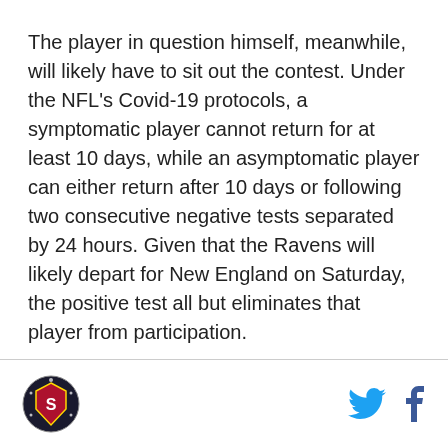The player in question himself, meanwhile, will likely have to sit out the contest. Under the NFL's Covid-19 protocols, a symptomatic player cannot return for at least 10 days, while an asymptomatic player can either return after 10 days or following two consecutive negative tests separated by 24 hours. Given that the Ravens will likely depart for New England on Saturday, the positive test all but eliminates that player from participation.
The Patriots, of course, are no strangers to the league's procedures given that they had numerous positive tests last month.
[Figure (logo): Circular sports team logo in the bottom-left footer area]